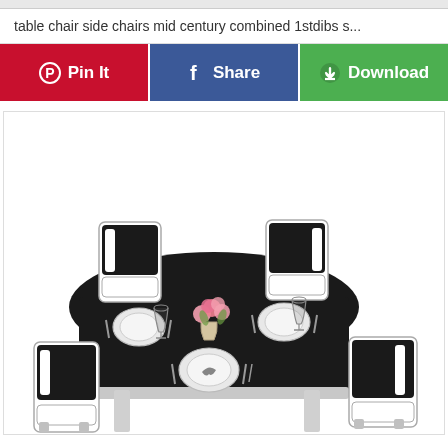table chair side chairs mid century combined 1stdibs s...
[Figure (other): Three social sharing buttons: Pinterest Pin It (red), Facebook Share (blue), Download (green)]
[Figure (photo): A modern black and white dining table set with four chairs, set with plates, cutlery, wine glasses, and a vase of pink flowers in the center, on a white background.]